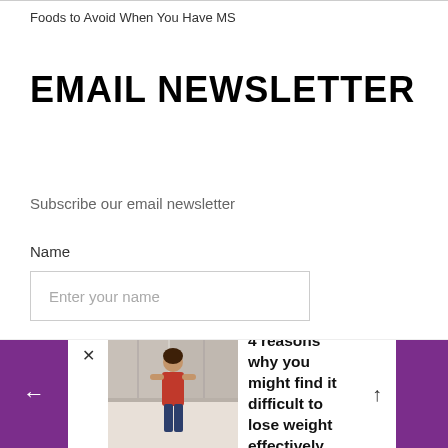Foods to Avoid When You Have MS
EMAIL NEWSLETTER
Subscribe our email newsletter
Name
Enter your name
Email Address*
4 reasons why you might find it difficult to lose weight effectively